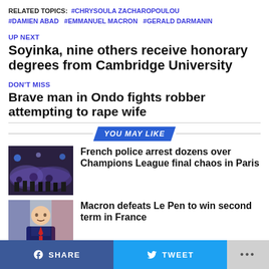RELATED TOPICS: #CHRYSOULA ZACHAROPOULOU #DAMIEN ABAD #EMMANUEL MACRON #GERALD DARMANIN
UP NEXT
Soyinka, nine others receive honorary degrees from Cambridge University
DON'T MISS
Brave man in Ondo fights robber attempting to rape wife
YOU MAY LIKE
[Figure (photo): Police officers in smoke/crowd control scene at night, Champions League final Paris]
French police arrest dozens over Champions League final chaos in Paris
[Figure (photo): Emmanuel Macron smiling in a suit]
Macron defeats Le Pen to win second term in France
SHARE   TWEET   ...